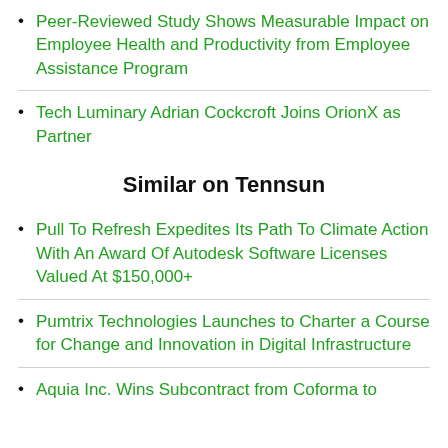Peer-Reviewed Study Shows Measurable Impact on Employee Health and Productivity from Employee Assistance Program
Tech Luminary Adrian Cockcroft Joins OrionX as Partner
Similar on Tennsun
Pull To Refresh Expedites Its Path To Climate Action With An Award Of Autodesk Software Licenses Valued At $150,000+
Pumtrix Technologies Launches to Charter a Course for Change and Innovation in Digital Infrastructure
Aquia Inc. Wins Subcontract from Coforma to